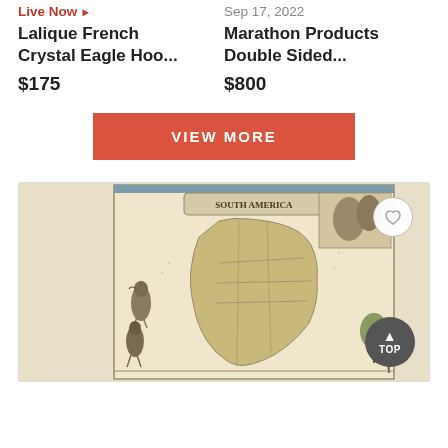Live Now ▶
Lalique French Crystal Eagle Hoo...
$175
Sep 17, 2022
Marathon Products Double Sided...
$800
VIEW MORE
[Figure (map): Antique illustrated map of South America with decorative border, showing country boundaries, featuring illustrated wildlife (birds, animals) in the margins and a cartouche at top. Sepia/aged tones.]